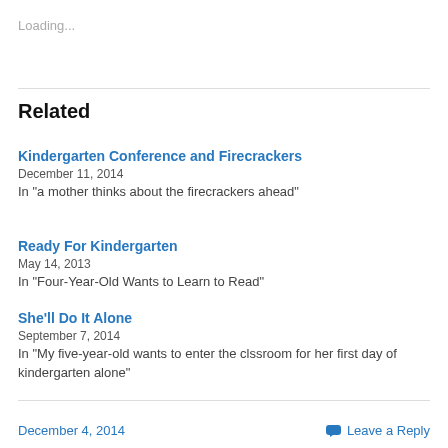Loading...
Related
Kindergarten Conference and Firecrackers
December 11, 2014
In "a mother thinks about the firecrackers ahead"
Ready For Kindergarten
May 14, 2013
In "Four-Year-Old Wants to Learn to Read"
She'll Do It Alone
September 7, 2014
In "My five-year-old wants to enter the clssroom for her first day of kindergarten alone"
December 4, 2014   Leave a Reply